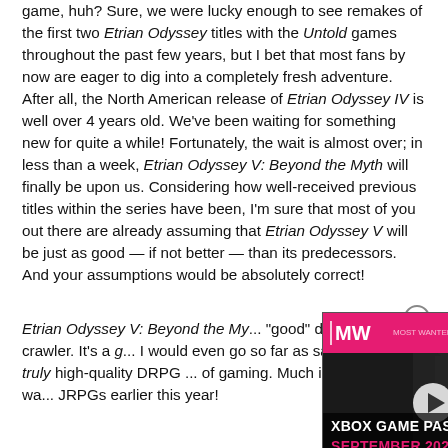game, huh? Sure, we were lucky enough to see remakes of the first two Etrian Odyssey titles with the Untold games throughout the past few years, but I bet that most fans by now are eager to dig into a completely fresh adventure. After all, the North American release of Etrian Odyssey IV is well over 4 years old. We've been waiting for something new for quite a while! Fortunately, the wait is almost over; in less than a week, Etrian Odyssey V: Beyond the Myth will finally be upon us. Considering how well-received previous titles within the series have been, I'm sure that most of you out there are already assuming that Etrian Odyssey V will be just as good — if not better — than its predecessors. And your assumptions would be absolutely correct!
Etrian Odyssey V: Beyond the Myth is not merely a "good" dungeon crawler. It's a g... I would even go so far as saying what a truly high-quality DRPG ... of gaming. Much in the same wa... JRPGs earlier this year!
[Figure (screenshot): Xbox Game Pass September 2022 advertisement with MW logo at top and soldiers silhouette in background. Pink and black color scheme with a play button overlay.]